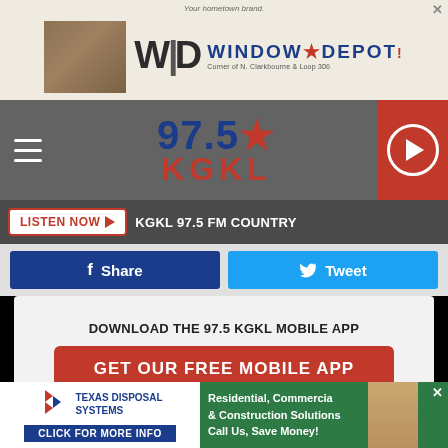[Figure (screenshot): Window Depot advertisement banner at top of page]
[Figure (logo): 97.5 KGKL radio station logo with navigation bar and play button]
LISTEN NOW ▶  KGKL 97.5 FM COUNTRY
[Figure (screenshot): Facebook Share and Twitter Tweet social buttons]
DOWNLOAD THE 97.5 KGKL MOBILE APP
GET OUR FREE MOBILE APP
Also listen on:  amazon alexa
[Figure (screenshot): Texas Disposal Systems advertisement banner at bottom of page with Residential, Commercial & Construction Solutions text]